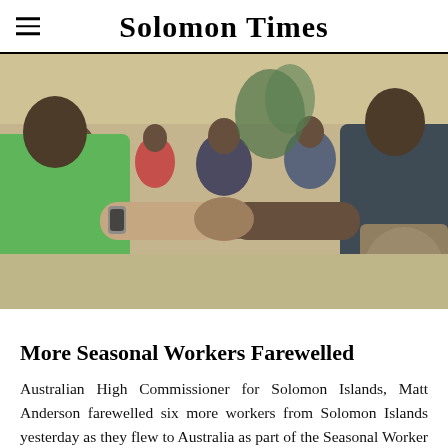Solomon Times
[Figure (photo): Two people shaking hands in the foreground, with a group of people standing in the background in what appears to be an outdoor or covered area.]
More Seasonal Workers Farewelled
Australian High Commissioner for Solomon Islands, Matt Anderson farewelled six more workers from Solomon Islands yesterday as they flew to Australia as part of the Seasonal Worker Program.